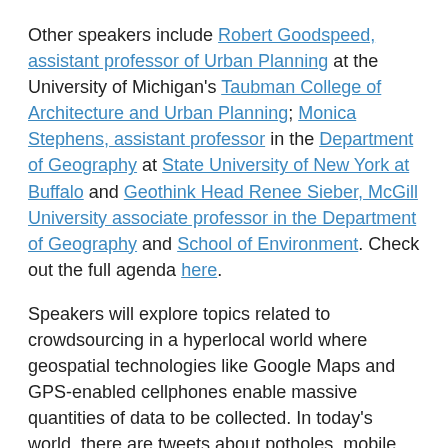Other speakers include Robert Goodspeed, assistant professor of Urban Planning at the University of Michigan's Taubman College of Architecture and Urban Planning; Monica Stephens, assistant professor in the Department of Geography at State University of New York at Buffalo and Geothink Head Renee Sieber, McGill University associate professor in the Department of Geography and School of Environment. Check out the full agenda here.
Speakers will explore topics related to crowdsourcing in a hyperlocal world where geospatial technologies like Google Maps and GPS-enabled cellphones enable massive quantities of data to be collected. In today's world, there are tweets about potholes, mobile applications which deliver directions to the nearest coffee shop, and large databases only recently opened by many governments around the world.
The summer institute is hosted by Geothink, a five-year